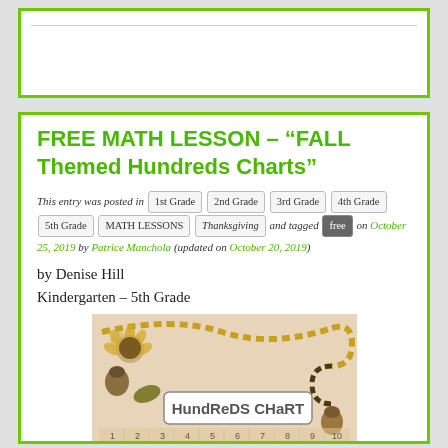FREE MATH LESSON – “FALL Themed Hundreds Charts”
This entry was posted in 1st Grade 2nd Grade 3rd Grade 4th Grade 5th Grade MATH LESSONS Thanksgiving and tagged free on October 25, 2019 by Patrice Manchola (updated on October 20, 2019)
by Denise Hill
Kindergarten – 5th Grade
[Figure (illustration): Fall-themed Hundreds Chart illustration showing a decorative chart with sunflowers, acorns, leaves, a snake-like dashed path on a beige background, and the title 'Hundreds Chart' on a tag. Numbers 1-10 visible at the bottom row.]